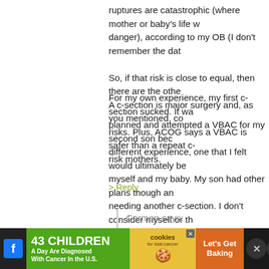ruptures are catastrophic (where mother or baby's life were in danger), according to my OB (I don't remember the data). So, if that risk is close to equal, then there are the other risks. A c-section is major surgery and, as you mentioned, comes with risks. Plus, ACOG says a VBAC is safer than a repeat c-section for low risk mothers.
For my own experience, my first c-section sucked. It was not planned and attempted a VBAC for my second son because I wanted a different experience, one that I felt would ultimately be better for myself and my baby. My son had other plans though and ended up needing another c-section. I don't consider myself or the VBAC a failure. I got a c-section that was necessary and even though the outcome was the same, the whole birth process was much easier, both mentally and physically. I'm still a VBAC advocate though, for those who can attempt one.
> Reply
Carmen says:
[Figure (infographic): Advertisement banner at bottom of page. Green section on left reads '43 CHILDREN A Day Are Diagnosed With Cancer in the U.S.' Yellow-orange middle section shows cookies for kids' cancer logo. Orange right section reads 'Let's Get Baking'. Dark icons on far right.]